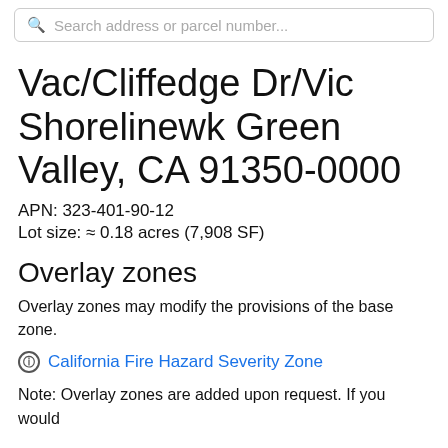Search address or parcel number...
Vac/Cliffedge Dr/Vic Shorelinewk Green Valley, CA 91350-0000
APN: 323-401-90-12
Lot size: ≈ 0.18 acres (7,908 SF)
Overlay zones
Overlay zones may modify the provisions of the base zone.
California Fire Hazard Severity Zone
Note: Overlay zones are added upon request. If you would